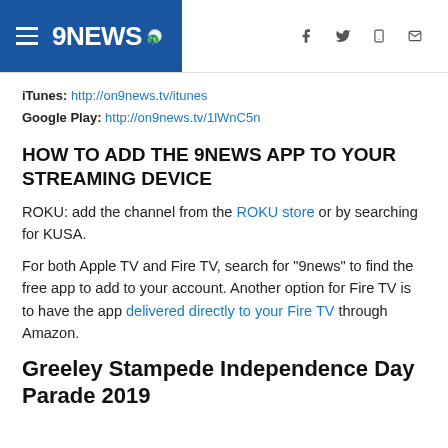9NEWS
iTunes: http://on9news.tv/itunes
Google Play: http://on9news.tv/1lWnC5n
HOW TO ADD THE 9NEWS APP TO YOUR STREAMING DEVICE
ROKU: add the channel from the ROKU store or by searching for KUSA.
For both Apple TV and Fire TV, search for "9news" to find the free app to add to your account. Another option for Fire TV is to have the app delivered directly to your Fire TV through Amazon.
Greeley Stampede Independence Day Parade 2019